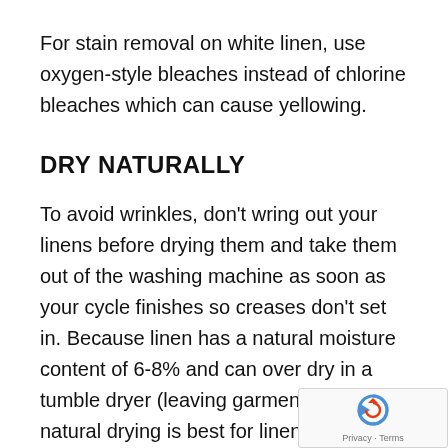For stain removal on white linen, use oxygen-style bleaches instead of chlorine bleaches which can cause yellowing.
DRY NATURALLY
To avoid wrinkles, don't wring out your linens before drying them and take them out of the washing machine as soon as your cycle finishes so creases don't set in. Because linen has a natural moisture content of 6-8% and can over dry in a tumble dryer (leaving garments brittle), natural drying is best for linen and the plan... Reshape your pieces while they are still dam...